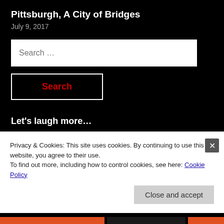Pittsburgh, A City of Bridges
July 9, 2017
Search …
Search
Let's laugh more…
Archives
Privacy & Cookies: This site uses cookies. By continuing to use this website, you agree to their use.
To find out more, including how to control cookies, see here: Cookie Policy
Close and accept